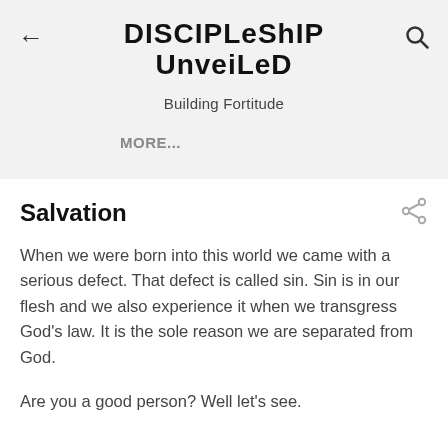DISCIPLESHIP Unveiled
Building Fortitude
MORE...
Salvation
When we were born into this world we came with a serious defect. That defect is called sin. Sin is in our flesh and we also experience it when we transgress God's law. It is the sole reason we are separated from God.
Are you a good person? Well let's see.